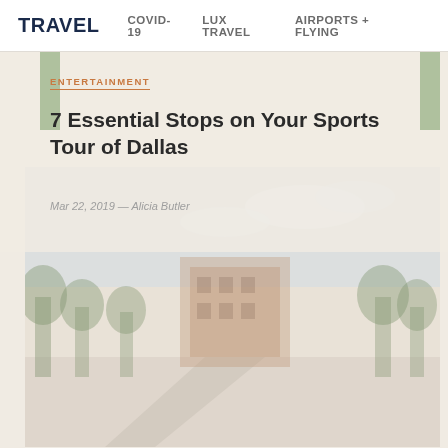TRAVEL  COVID-19  LUX TRAVEL  AIRPORTS + FLYING
ENTERTAINMENT
7 Essential Stops on Your Sports Tour of Dallas
Mar 22, 2019 — Alicia Butler
[Figure (photo): Faded outdoor photo of a street scene with trees and a brick building in Dallas, Texas]